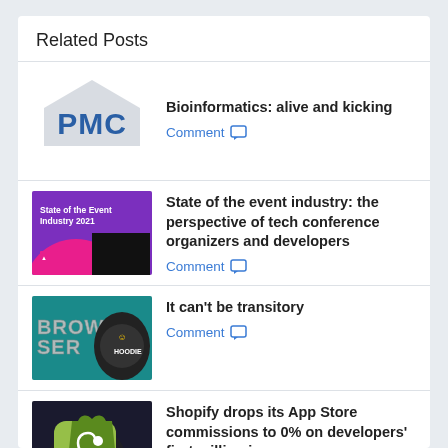Related Posts
[Figure (logo): PMC logo — stylized gray pentagon shape behind bold blue 'PMC' text]
Bioinformatics: alive and kicking
Comment
[Figure (photo): State of the Event Industry 2021 — purple background with pink semicircle, small logo, black rectangle]
State of the event industry: the perspective of tech conference organizers and developers
Comment
[Figure (photo): The Bootstrapped Founder — teal background with chrome-effect 'BROWSER' text, man in black hoodie]
It can't be transitory
Comment
[Figure (photo): Shopify green shopping bag logo on a dark surface]
Shopify drops its App Store commissions to 0% on developers' first million in revenue
Comment